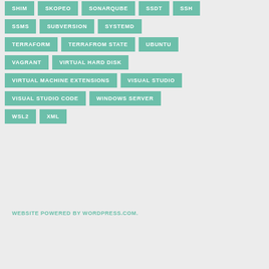SHIM
SKOPEO
SONARQUBE
SSDT
SSH
SSMS
SUBVERSION
SYSTEMD
TERRAFORM
TERRAFROM STATE
UBUNTU
VAGRANT
VIRTUAL HARD DISK
VIRTUAL MACHINE EXTENSIONS
VISUAL STUDIO
VISUAL STUDIO CODE
WINDOWS SERVER
WSL2
XML
WEBSITE POWERED BY WORDPRESS.COM.